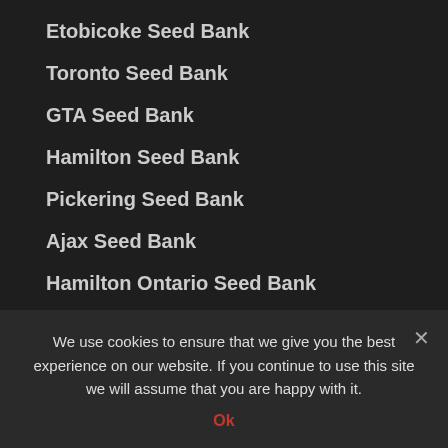Etobicoke Seed Bank
Toronto Seed Bank
GTA Seed Bank
Hamilton Seed Bank
Pickering Seed Bank
Ajax Seed Bank
Hamilton Ontario Seed Bank
London Ontario Seed Bank
Windsor Ontario Seed Bank
Haliburton Seed Bank
Ottawa Seed Bank
We use cookies to ensure that we give you the best experience on our website. If you continue to use this site we will assume that you are happy with it.
Ok